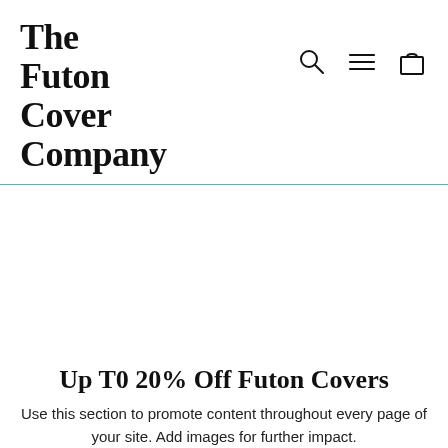The Futon Cover Company
[Figure (screenshot): Navigation icons: search (magnifying glass), hamburger menu, and shopping bag]
Up T0 20% Off Futon Covers
Use this section to promote content throughout every page of your site. Add images for further impact.